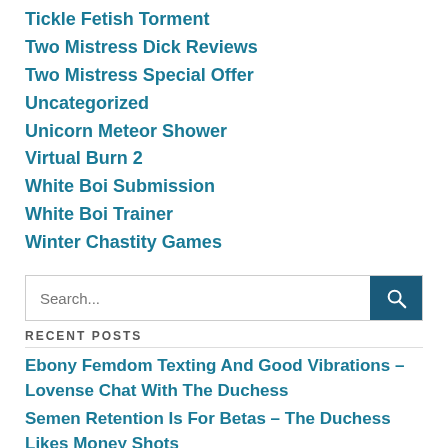Tickle Fetish Torment
Two Mistress Dick Reviews
Two Mistress Special Offer
Uncategorized
Unicorn Meteor Shower
Virtual Burn 2
White Boi Submission
White Boi Trainer
Winter Chastity Games
RECENT POSTS
Ebony Femdom Texting And Good Vibrations – Lovense Chat With The Duchess
Semen Retention Is For Betas – The Duchess Likes Money Shots
What It Means To Worship A Black Queen – White Boi